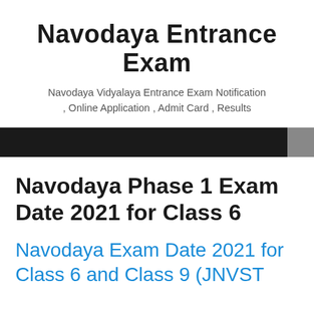Navodaya Entrance Exam
Navodaya Vidyalaya Entrance Exam Notification , Online Application , Admit Card , Results
[Figure (other): Black navigation bar with grey section on the right]
Navodaya Phase 1 Exam Date 2021 for Class 6
Navodaya Exam Date 2021 for Class 6 and Class 9 (JNVST